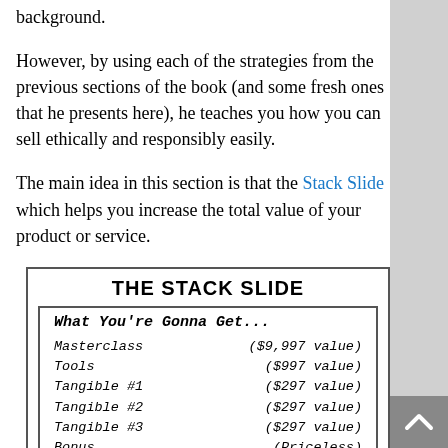background.
However, by using each of the strategies from the previous sections of the book (and some fresh ones that he presents here), he teaches you how you can sell ethically and responsibly easily.
The main idea in this section is that the Stack Slide which helps you increase the total value of your product or service.
[Figure (infographic): The Stack Slide infographic showing 'What You're Gonna Get...' with items: Masterclass ($9,997 value), Tools ($997 value), Tangible #1 ($297 value), Tangible #2 ($297 value), Tangible #3 ($297 value), Bonus (Priceless)]